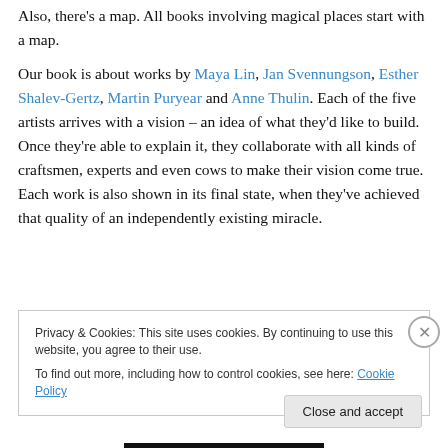Also, there's a map. All books involving magical places start with a map.
Our book is about works by Maya Lin, Jan Svennungson, Esther Shalev-Gertz, Martin Puryear and Anne Thulin. Each of the five artists arrives with a vision – an idea of what they'd like to build. Once they're able to explain it, they collaborate with all kinds of craftsmen, experts and even cows to make their vision come true. Each work is also shown in its final state, when they've achieved that quality of an independently existing miracle.
Privacy & Cookies: This site uses cookies. By continuing to use this website, you agree to their use. To find out more, including how to control cookies, see here: Cookie Policy